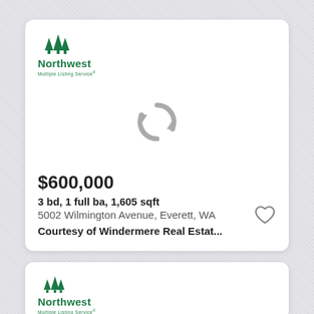[Figure (logo): Northwest Multiple Listing Service logo with green tree icons and text]
[Figure (illustration): Gray circular refresh/reload icon indicating image loading placeholder]
$600,000
3 bd, 1 full ba, 1,605 sqft
5002 Wilmington Avenue, Everett, WA
Courtesy of Windermere Real Estat...
[Figure (logo): Northwest Multiple Listing Service logo with green tree icons and text (second card, partial view)]